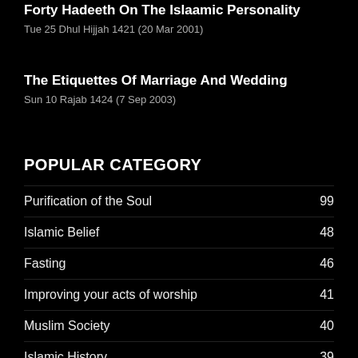Forty Hadeeth On The Islaamic Personality
Tue 25 Dhul Hijjah 1421 (20 Mar 2001)
The Etiquettes Of Marriage And Wedding
Sun 10 Rajab 1424 (7 Sep 2003)
POPULAR CATEGORY
Purification of the Soul  99
Islamic Belief  48
Fasting  46
Improving your acts of worship  41
Muslim Society  40
Islamic History  39
Understanding the Qur'an  38